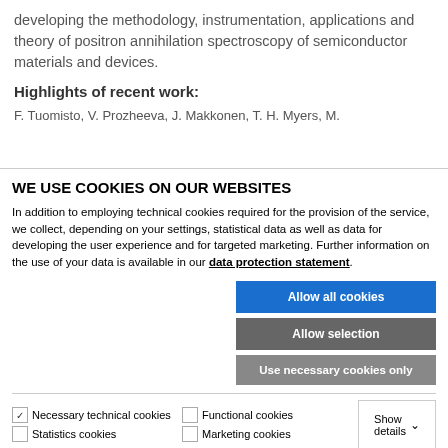developing the methodology, instrumentation, applications and theory of positron annihilation spectroscopy of semiconductor materials and devices.
Highlights of recent work:
F. Tuomisto, V. Prozheeva, J. Makkonen, T. H. Myers, M...
WE USE COOKIES ON OUR WEBSITES
In addition to employing technical cookies required for the provision of the service, we collect, depending on your settings, statistical data as well as data for developing the user experience and for targeted marketing. Further information on the use of your data is available in our data protection statement.
Allow all cookies | Allow selection | Use necessary cookies only
Necessary technical cookies | Functional cookies | Statistics cookies | Marketing cookies | Show details